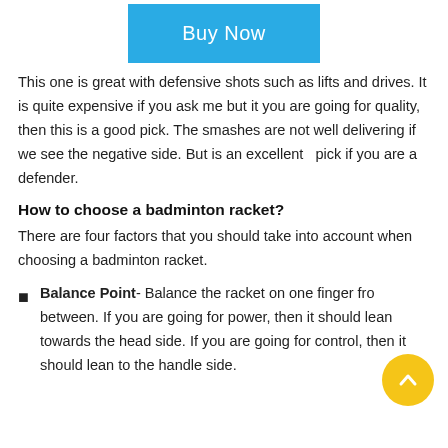[Figure (other): Buy Now button in teal/blue color]
This one is great with defensive shots such as lifts and drives. It is quite expensive if you ask me but it you are going for quality, then this is a good pick. The smashes are not well delivering if we see the negative side. But is an excellent  pick if you are a defender.
How to choose a badminton racket?
There are four factors that you should take into account when choosing a badminton racket.
Balance Point- Balance the racket on one finger from between. If you are going for power, then it should lean towards the head side. If you are going for control, then it should lean to the handle side.